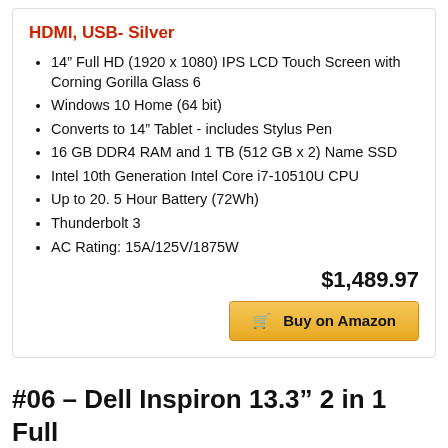HDMI, USB- Silver
14” Full HD (1920 x 1080) IPS LCD Touch Screen with Corning Gorilla Glass 6
Windows 10 Home (64 bit)
Converts to 14” Tablet - includes Stylus Pen
16 GB DDR4 RAM and 1 TB (512 GB x 2) Name SSD
Intel 10th Generation Intel Core i7-10510U CPU
Up to 20. 5 Hour Battery (72Wh)
Thunderbolt 3
AC Rating: 15A/125V/1875W
$1,489.97
Buy on Amazon
#06 – Dell Inspiron 13.3” 2 in 1 Full